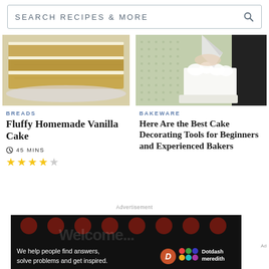SEARCH RECIPES & MORE
[Figure (photo): Sliced layered vanilla cake with white frosting on a plate]
BREADS
Fluffy Homemade Vanilla Cake
45 MINS
[Figure (photo): Person decorating a white cake with a piping bag on a patterned green background]
BAKEWARE
Here Are the Best Cake Decorating Tools for Beginners and Experienced Bakers
[Figure (infographic): Advertisement banner: We help people find answers, solve problems and get inspired. Dotdash Meredith logo.]